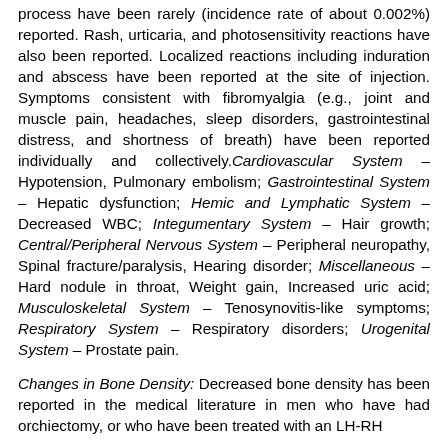process have been rarely (incidence rate of about 0.002%) reported. Rash, urticaria, and photosensitivity reactions have also been reported. Localized reactions including induration and abscess have been reported at the site of injection. Symptoms consistent with fibromyalgia (e.g., joint and muscle pain, headaches, sleep disorders, gastrointestinal distress, and shortness of breath) have been reported individually and collectively.Cardiovascular System – Hypotension, Pulmonary embolism; Gastrointestinal System – Hepatic dysfunction; Hemic and Lymphatic System – Decreased WBC; Integumentary System – Hair growth; Central/Peripheral Nervous System – Peripheral neuropathy, Spinal fracture/paralysis, Hearing disorder; Miscellaneous – Hard nodule in throat, Weight gain, Increased uric acid; Musculoskeletal System – Tenosynovitis-like symptoms; Respiratory System – Respiratory disorders; Urogenital System – Prostate pain.
Changes in Bone Density: Decreased bone density has been reported in the medical literature in men who have had orchiectomy, or who have been treated with an LH-RH